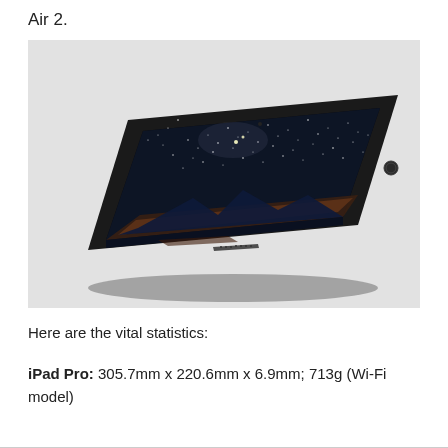Air 2.
[Figure (photo): iPad Pro shown at an angle, leaning back, displaying a night sky / starry landscape photo on its screen, against a light grey background.]
Here are the vital statistics:
iPad Pro: 305.7mm x 220.6mm x 6.9mm; 713g (Wi-Fi model)